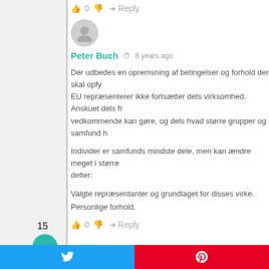0  Reply
[Figure (illustration): Gray user avatar circle icon]
Peter Buch  8 years ago
Der udbedes en opremsning af betingelser og forhold der skal opfy EU repræsenterer ikke fortsætter dets virksomhed. Anskuet dels fr vedkommende kan gøre, og dels hvad større grupper og samfund h
Individer er samfunds mindste dele, men kan ændre meget i større delter:
Valgte repræsentanter og grundlaget for disses virke.
Personlige forhold.
0  Reply
15